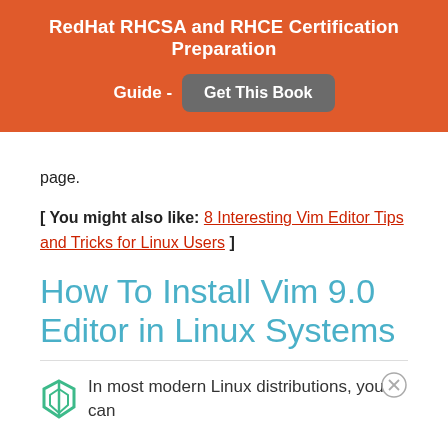RedHat RHCSA and RHCE Certification Preparation Guide - Get This Book
page.
[ You might also like: 8 Interesting Vim Editor Tips and Tricks for Linux Users ]
How To Install Vim 9.0 Editor in Linux Systems
In most modern Linux distributions, you can